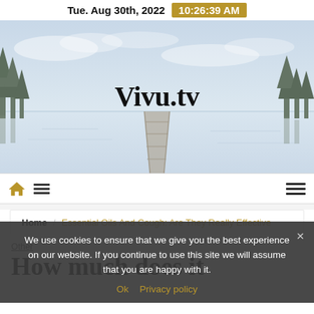Tue. Aug 30th, 2022  10:26:39 AM
[Figure (photo): Misty winter lake scene with pine trees and a wooden dock extending into still water, overcast sky, used as website hero banner background]
Vivu.tv
Home / Essential Oils And Cough: Are They Really Effective
We use cookies to ensure that we give you the best experience on our website. If you continue to use this site we will assume that you are happy with it.
Ok  Privacy policy
Other
How much does it